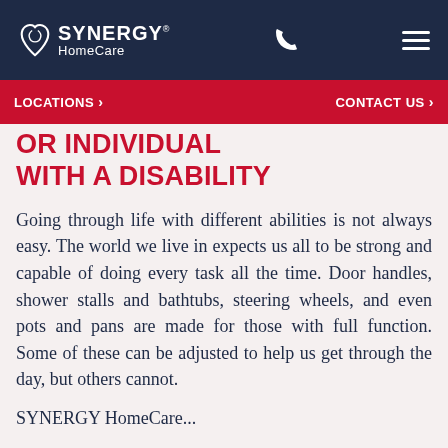SYNERGY HomeCare
LOCATIONS > OR INDIVIDUAL WITH A DISABILITY CONTACT US >
OR INDIVIDUAL WITH A DISABILITY
Going through life with different abilities is not always easy. The world we live in expects us all to be strong and capable of doing every task all the time. Door handles, shower stalls and bathtubs, steering wheels, and even pots and pans are made for those with full function. Some of these can be adjusted to help us get through the day, but others cannot.
SYNERGY HomeCare...